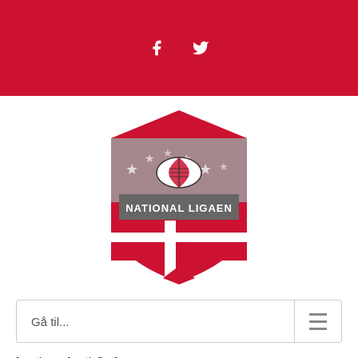f  ✔ (social icons on red bar)
[Figure (logo): National Ligaen logo: red and grey shield with American football and Danish flag colors, text NATIONAL LIGAEN on grey banner]
Gå til...
[av_three_fourth first]
[av_heading heading=‘Kampprogram’ tag=‘h3’
style=‘blockquote modern-quote’ size=‘’
subheading_active=‘’ subheading_size=‘'15'